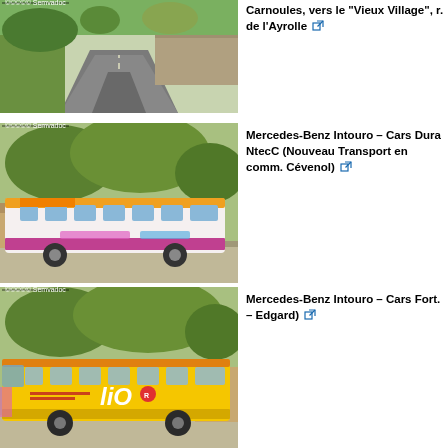[Figure (photo): Road leading through rural countryside, with stone wall and vegetation, Carnoules area]
Carnoules, vers le "Vieux Village", r. de l'Ayrolle
[Figure (photo): Mercedes-Benz Intouro bus with white and magenta livery, Semvadoc branding, parked in a lot with trees]
Mercedes-Benz Intouro – Cars Dura NtecC (Nouveau Transport en comm. Cévenol)
[Figure (photo): Mercedes-Benz Intouro bus in yellow LiO livery, parked in a lot with trees]
Mercedes-Benz Intouro – Cars Fort. – Edgard)